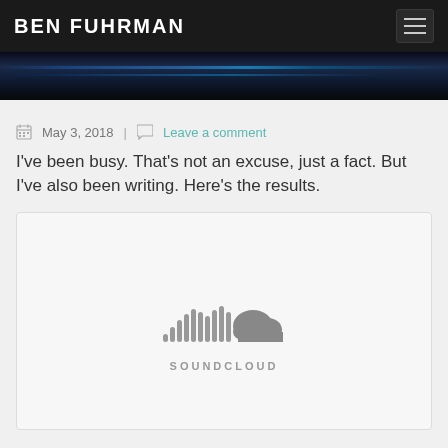BEN FUHRMAN
May 3, 2018  |  Leave a comment
I've been busy. That's not an excuse, just a fact. But I've also been writing. Here's the results.
[Figure (logo): SoundCloud embedded player placeholder showing the SoundCloud logo (sound wave bars + cloud icon) in gray with SOUNDCLOUD wordmark below]